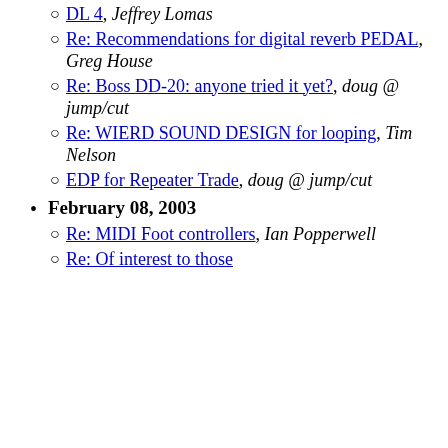Boss DD-20: anyone tried it yet?, Eric Williamson
Re: MIDI Foot controllers, Goddess
Re: WIERD SOUND DESIGN for looping, Matthias Grob
DL 4, Jeffrey Lomas
Re: Recommendations for digital reverb PEDAL, Greg House
Re: Boss DD-20: anyone tried it yet?, doug @ jump/cut
Re: WIERD SOUND DESIGN for looping, Tim Nelson
EDP for Repeater Trade, doug @ jump/cut
February 08, 2003
Re: MIDI Foot controllers, Ian Popperwell
Re: Of interest to those with... Echo, Re: Ric...